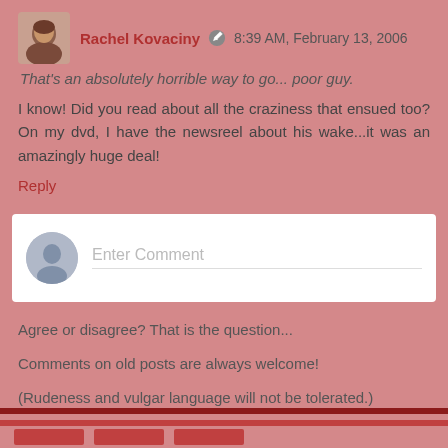Rachel Kovaciny  8:39 AM, February 13, 2006
That's an absolutely horrible way to go... poor guy.
I know! Did you read about all the craziness that ensued too? On my dvd, I have the newsreel about his wake...it was an amazingly huge deal!
Reply
[Figure (screenshot): Enter Comment input box with user avatar icon placeholder]
Agree or disagree? That is the question...
Comments on old posts are always welcome!
(Rudeness and vulgar language will not be tolerated.)